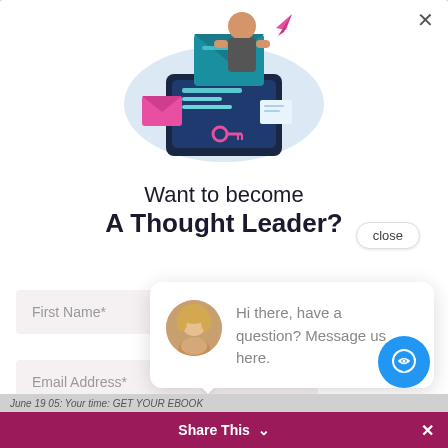[Figure (illustration): Isometric illustration of a person pulling an envelope from a digital tablet/screen, with pink envelopes, papers, and a key scattered around, on a light blue oval background]
Want to become A Thought Leader?
close
[Figure (illustration): Chat bubble popup with avatar of blonde woman and text: Hi there, have a question? Message us here.]
First Name*
Email Address*
Share This
GET YOUR EBOOK